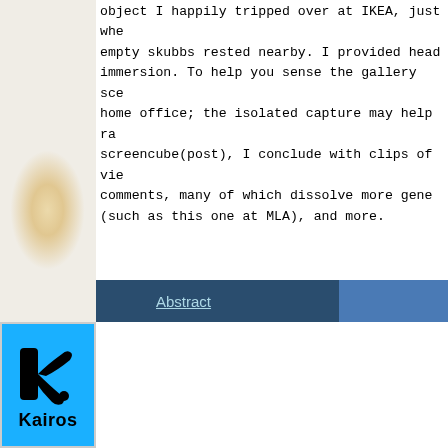object I happily tripped over at IKEA, just whe empty skubbs rested nearby. I provided head immersion. To help you sense the gallery sce home office; the isolated capture may help ra screencube(post), I conclude with clips of vie comments, many of which dissolve more gen (such as this one at MLA), and more.
Abstract
[Figure (logo): Kairos journal logo: blue square background with black stylized 'k' letter mark and the word 'Kairos' in bold black text below]